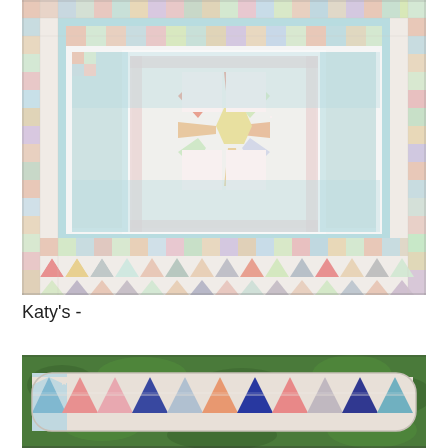[Figure (photo): Overhead view of a colorful patchwork quilt laid flat, featuring a central star medallion block surrounded by rings of small patchwork squares in pastel colors (coral, aqua, yellow, green), with flying geese blocks along the bottom border.]
Katy's -
[Figure (photo): A long narrow quilted pillow or table runner photographed outdoors on greenery, made with triangular half-square triangle blocks in navy, coral, pink, and grey fabrics arranged in a zigzag/arrow pattern along its length.]